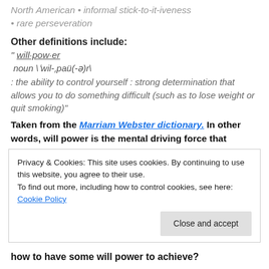North American • informal stick-to-it-iveness
• rare perseveration
Other definitions include:
" will·pow·er
noun \ˈwil-ˌpaü(-ə)r\
: the ability to control yourself : strong determination that allows you to do something difficult (such as to lose weight or quit smoking)"
Taken from the Marriam Webster dictionary. In other words, will power is the mental driving force that
Privacy & Cookies: This site uses cookies. By continuing to use this website, you agree to their use.
To find out more, including how to control cookies, see here: Cookie Policy
how to have some will power to achieve?